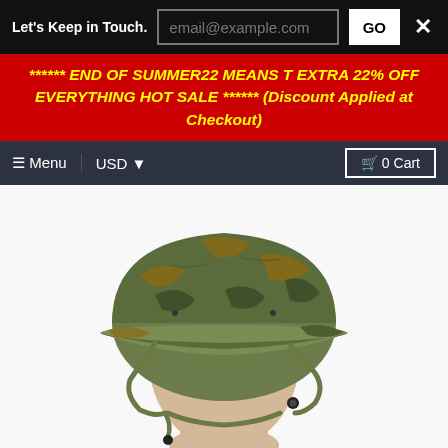Let's Keep in Touch. | email@example.com | GO | ×
****** END OF SUMMER22 MEANS T EXTRA 22% OFF EVERYTHING HOT SALE ****** (Discount Applied at Checkout)
☰ Menu | USD ▼ | 🛒 0 Cart
[Figure (photo): A mannequin head wearing a military helmet with woodland camouflage cover and olive drab chin strap]